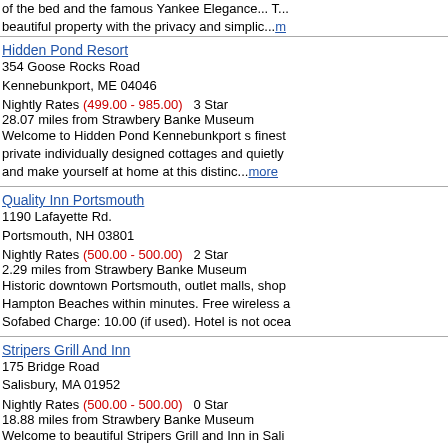of the bed and the famous Yankee Elegance... T... beautiful property with the privacy and simplic...more
Hidden Pond Resort
354 Goose Rocks Road
Kennebunkport, ME 04046
Nightly Rates (499.00 - 985.00)  3 Star
28.07 miles from Strawbery Banke Museum
Welcome to Hidden Pond Kennebunkport s finest private individually designed cottages and quietly and make yourself at home at this distinc...more
Quality Inn Portsmouth
1190 Lafayette Rd.
Portsmouth, NH 03801
Nightly Rates (500.00 - 500.00)  2 Star
2.29 miles from Strawbery Banke Museum
Historic downtown Portsmouth, outlet malls, shop Hampton Beaches within minutes. Free wireless a Sofabed Charge: 10.00 (if used). Hotel is not ocea
Stripers Grill And Inn
175 Bridge Road
Salisbury, MA 01952
Nightly Rates (500.00 - 500.00)  0 Star
18.88 miles from Strawbery Banke Museum
Welcome to beautiful Stripers Grill and Inn in Sali from home. We offer 14 guest rooms for your trav you and your family.We are located in Salisbur...m
Harbor Inn